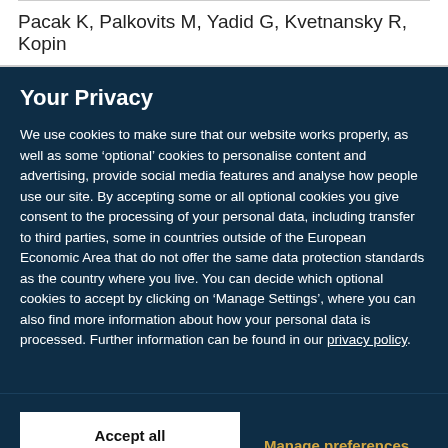Pacak K, Palkovits M, Yadid G, Kvetnansky R, Kopin
Your Privacy
We use cookies to make sure that our website works properly, as well as some ‘optional’ cookies to personalise content and advertising, provide social media features and analyse how people use our site. By accepting some or all optional cookies you give consent to the processing of your personal data, including transfer to third parties, some in countries outside of the European Economic Area that do not offer the same data protection standards as the country where you live. You can decide which optional cookies to accept by clicking on ‘Manage Settings’, where you can also find more information about how your personal data is processed. Further information can be found in our privacy policy.
Accept all cookies
Manage preferences